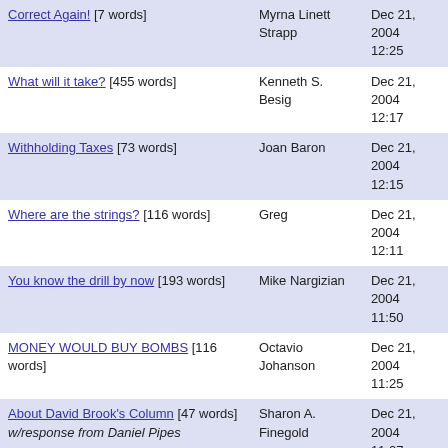| Correct Again! [7 words] | Myrna Linett Strapp | Dec 21, 2004 12:25 |
| What will it take? [455 words] | Kenneth S. Besig | Dec 21, 2004 12:17 |
| Withholding Taxes [73 words] | Joan Baron | Dec 21, 2004 12:15 |
| Where are the strings? [116 words] | Greg | Dec 21, 2004 12:11 |
| You know the drill by now [193 words] | Mike Nargizian | Dec 21, 2004 11:50 |
| MONEY WOULD BUY BOMBS [116 words] | Octavio Johanson | Dec 21, 2004 11:25 |
| About David Brook's Column [47 words] w/response from Daniel Pipes | Sharon A. Finegold | Dec 21, 2004 11:07 |
| a poverty of ideas [178 words] | Vijay Dandapani | Dec 21, 2004 10:35 |